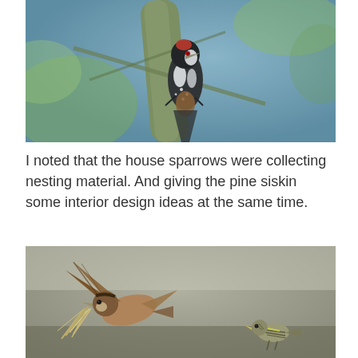[Figure (photo): A woodpecker with black and white spotted plumage clinging to a branch, blurred green and blue bokeh background]
I noted that the house sparrows were collecting nesting material. And giving the pine siskin some interior design ideas at the same time.
[Figure (photo): Two birds — a house sparrow in flight carrying nesting material (straw/fibers) and a pine siskin perched nearby, blurred grey-brown background]